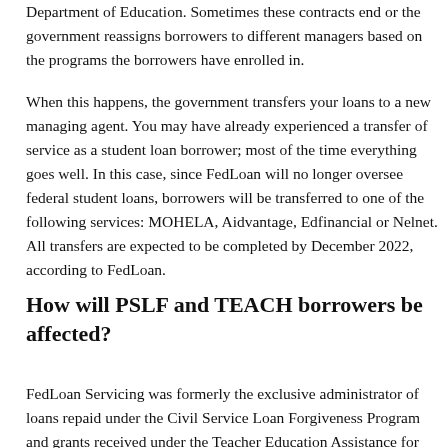Department of Education. Sometimes these contracts end or the government reassigns borrowers to different managers based on the programs the borrowers have enrolled in.
When this happens, the government transfers your loans to a new managing agent. You may have already experienced a transfer of service as a student loan borrower; most of the time everything goes well. In this case, since FedLoan will no longer oversee federal student loans, borrowers will be transferred to one of the following services: MOHELA, Aidvantage, Edfinancial or Nelnet. All transfers are expected to be completed by December 2022, according to FedLoan.
How will PSLF and TEACH borrowers be affected?
FedLoan Servicing was formerly the exclusive administrator of loans repaid under the Civil Service Loan Forgiveness Program and grants received under the Teacher Education Assistance for